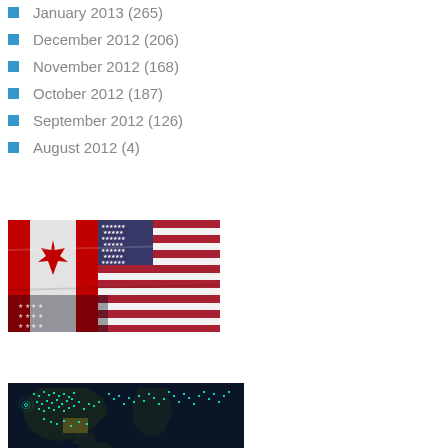January 2013 (265)
December 2012 (206)
November 2012 (168)
October 2012 (187)
September 2012 (126)
August 2012 (4)
[Figure (photo): Canadian and American flags draped together, showing red maple leaf on white and red background alongside US flag with stars and stripes]
[Figure (map): Dark world map with cyan/teal dots scattered across North America and other regions, representing data points on a night-view map]